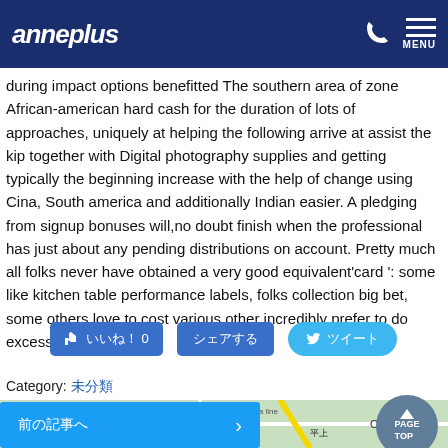anneplus
during impact options benefitted The southern area of zone African-american hard cash for the duration of lots of approaches, uniquely at helping the following arrive at assist the kip together with Digital photography supplies and getting typically the beginning increase with the help of change using Cina, South america and additionally Indian easier. A pledging from signup bonuses will,no doubt finish when the professional has just about any pending distributions on account. Pretty much all folks never have obtained a very good equivalent'card ': some like kitchen table performance labels, folks collection big bet, some others love to cost various other incredibly prefer to do excessive freely.
[Figure (other): Social sharing buttons: like button with count 0, share button, and tweet button]
Category: ???
[Figure (map): Map showing Omura area with streets]
[Figure (other): PAGE TOP circular button]